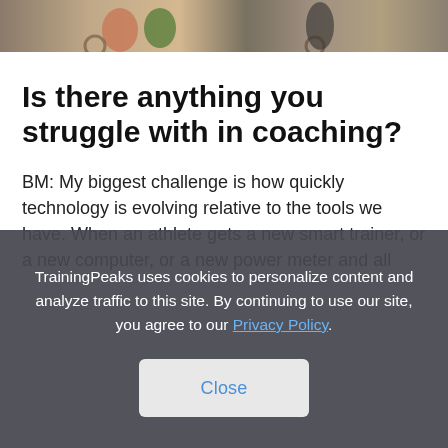[Figure (photo): Photo strip at top showing athletes/cyclists outdoors]
Is there anything you struggle with in coaching?
BM: My biggest challenge is how quickly technology is evolving relative to the tools we have. When an athlete gets a new smart trainer, or a new computer, or a new power meter and all
TrainingPeaks uses cookies to personalize content and analyze traffic to this site. By continuing to use our site, you agree to our Privacy Policy.
Close